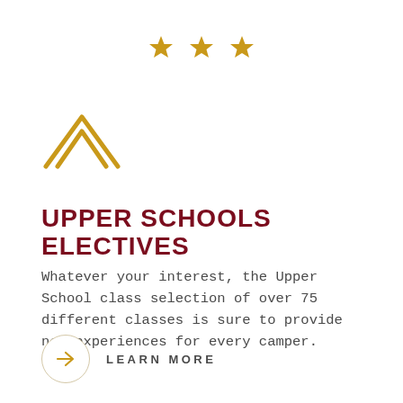[Figure (illustration): Three gold/amber five-pointed stars arranged horizontally centered at the top of the page]
[Figure (illustration): Gold/amber outlined chevron (upward pointing double-arrow rank insignia) on the left side]
UPPER SCHOOLS ELECTIVES
Whatever your interest, the Upper School class selection of over 75 different classes is sure to provide new experiences for every camper.
LEARN MORE